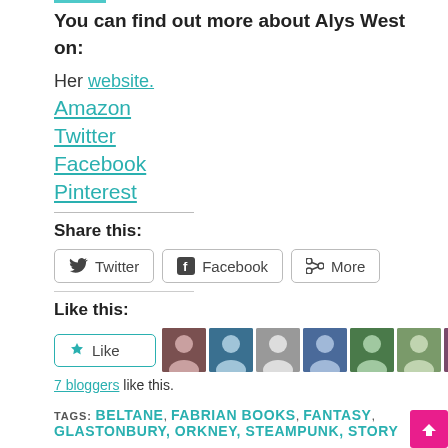You can find out more about Alys West on:
Her website.
Amazon
Twitter
Facebook
Pinterest
Share this:
Twitter  Facebook  More
Like this:
Like  7 bloggers like this.
TAGS: BELTANE, FABRIAN BOOKS, FANTASY, GLASTONBURY, ORKNEY, STEAMPUNK, STORY